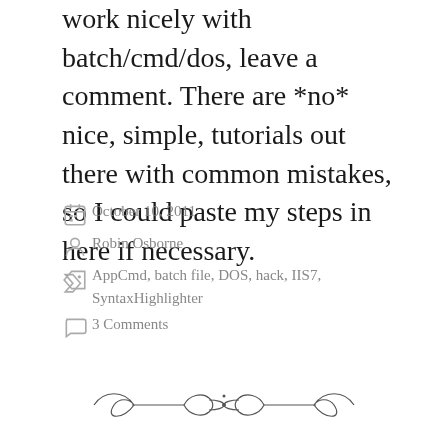work nicely with batch/cmd/dos, leave a comment. There are *no* nice, simple, tutorials out there with common mistakes, so I could paste my steps in here if necessary.
October 10, 2011
Robin Osborne
AppCmd, batch file, DOS, hack, IIS7, SyntaxHighlighter
3 Comments
[Figure (illustration): Decorative horizontal divider with scrollwork and bow design]